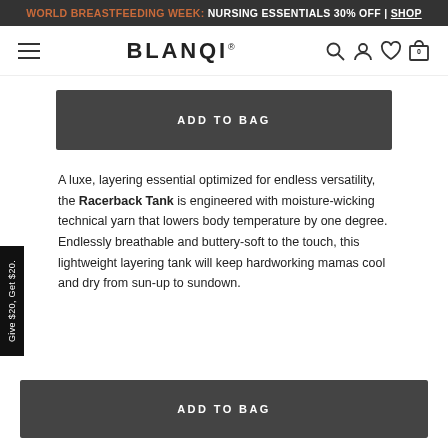WORLD BREASTFEEDING WEEK: NURSING ESSENTIALS 30% OFF | SHOP
BLANQI
ADD TO BAG
A luxe, layering essential optimized for endless versatility, the Racerback Tank is engineered with moisture-wicking technical yarn that lowers body temperature by one degree. Endlessly breathable and buttery-soft to the touch, this lightweight layering tank will keep hardworking mamas cool and dry from sun-up to sundown.
Give $20, Get $20.
ADD TO BAG